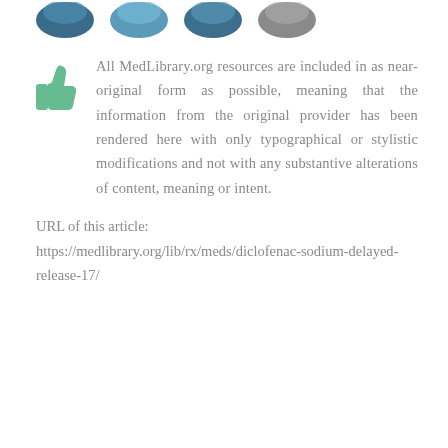[Figure (illustration): Four partially visible circular icons at the top of the page in shades of blue and grey]
All MedLibrary.org resources are included in as near-original form as possible, meaning that the information from the original provider has been rendered here with only typographical or stylistic modifications and not with any substantive alterations of content, meaning or intent.
URL of this article:
https://medlibrary.org/lib/rx/meds/diclofenac-sodium-delayed-release-17/